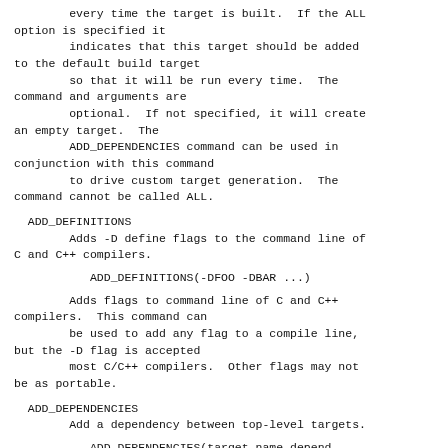every time the target is built.  If the ALL option is specified it
        indicates that this target should be added to the default build target
        so that it will be run every time.  The command and arguments are
        optional.  If not specified, it will create an empty target.  The
        ADD_DEPENDENCIES command can be used in conjunction with this command
        to drive custom target generation.  The command cannot be called ALL.
ADD_DEFINITIONS
Adds -D define flags to the command line of C and C++ compilers.
ADD_DEFINITIONS(-DFOO -DBAR ...)
Adds flags to command line of C and C++ compilers.  This command can
        be used to add any flag to a compile line, but the -D flag is accepted
        most C/C++ compilers.  Other flags may not be as portable.
ADD_DEPENDENCIES
Add a dependency between top-level targets.
ADD_DEPENDENCIES(target-name depend-target1
                               depend-target2 ...)